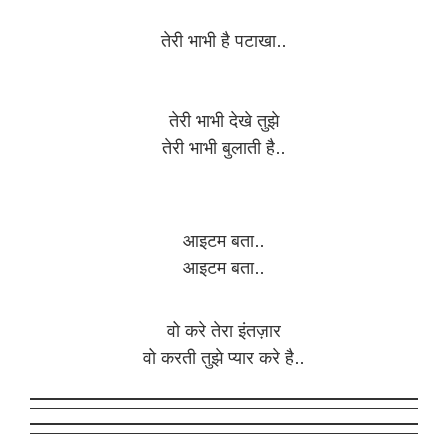Hindi lyrics line 1
Hindi lyrics lines 2-3
Hindi lyrics lines 4-5
Hindi lyrics lines 6-7
Teri Bhabhi Lyrics in English